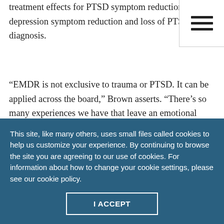treatment effects for PTSD symptom reduction, depression symptom reduction and loss of PTSD diagnosis.
“EMDR is not exclusive to trauma or PTSD. It can be applied across the board,” Brown asserts. “There’s so many experiences we have that leave an emotional impact on us, and that really is why EMDR can be helpful, because it’s addressing the emotional impacts we’ve experienced.” Those impacts might
This site, like many others, uses small files called cookies to help us customize your experience. By continuing to browse the site you are agreeing to our use of cookies. For information about how to change your cookie settings, please see our cookie policy.